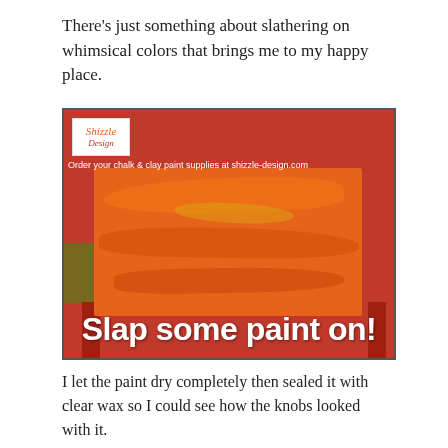There's just something about slathering on whimsical colors that brings me to my happy place.
[Figure (photo): Photo of a piece of furniture (dresser or table) painted with whimsical orange, red, and yellow chalk/clay paint, held up outdoors. The Shizzle Design logo is in the top-left corner with text 'Order your chalk & clay paint supplies at shizzle-design.com'. Large white bold text at the bottom reads 'Slap some paint on!']
I let the paint dry completely then sealed it with clear wax so I could see how the knobs looked with it.